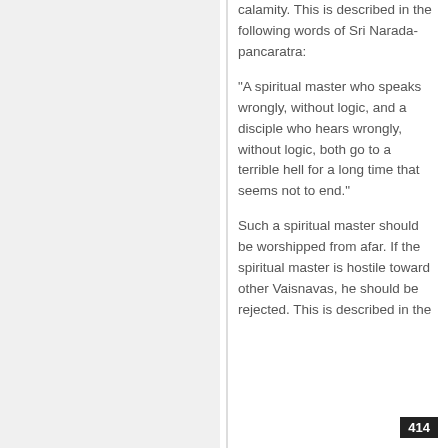calamity. This is described in the following words of Sri Narada-pancaratra:
“A spiritual master who speaks wrongly, without logic, and a disciple who hears wrongly, without logic, both go to a terrible hell for a long time that seems not to end.”
Such a spiritual master should be worshipped from afar. If the spiritual master is hostile toward other Vaisnavas, he should be rejected. This is described in the
414